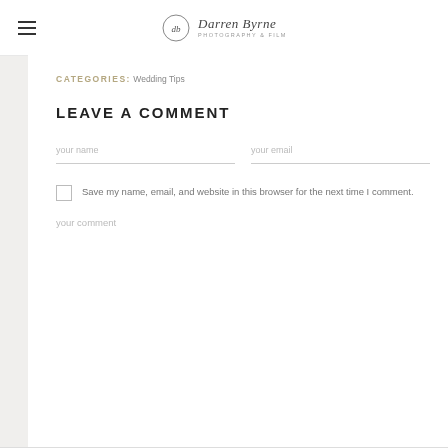Darren Byrne Photography & Film
CATEGORIES: Wedding Tips
LEAVE A COMMENT
your name
your email
Save my name, email, and website in this browser for the next time I comment.
your comment